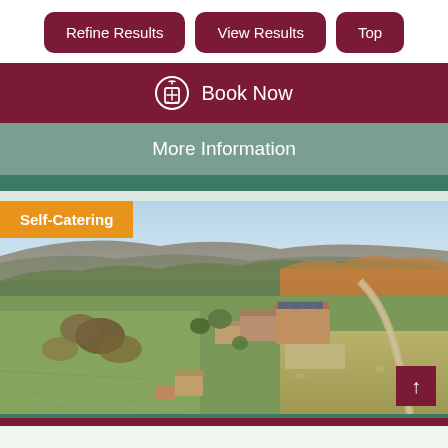Refine Results
View Results
Top
Book Now
More Information
Self-Catering
[Figure (photo): Aerial drone photograph of a rural farm complex surrounded by fields and woodland, with rolling hills in the background. The farm buildings have terracotta roofs and there is a driveway on the right side.]
↑